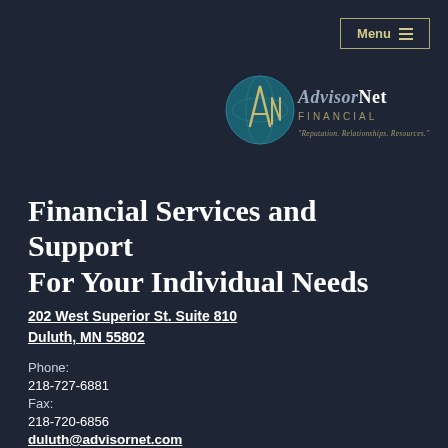[Figure (logo): AdvisorNet Financial logo with teal globe, stylized AN monogram, gold text reading AdvisorNet FINANCIAL and tagline Reputation. Relationships. Resources.]
Financial Services and Support For Your Individual Needs
202 West Superior St. Suite 810
Duluth, MN 55802
Phone:
218-727-6881
Fax:
218-720-6856
duluth@advisornet.com